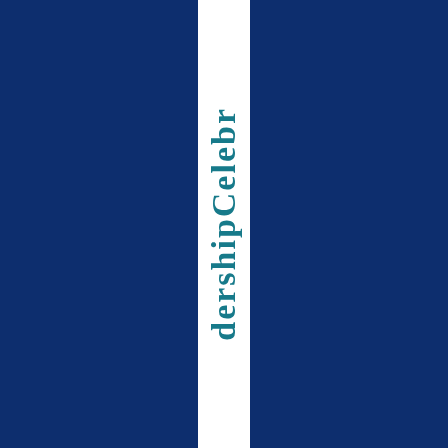[Figure (other): Dark navy blue page with a vertical white strip in the center containing rotated bold teal text reading 'dershipCelebr' (partial text visible, part of 'Leadership Celebration' or similar title running vertically)]